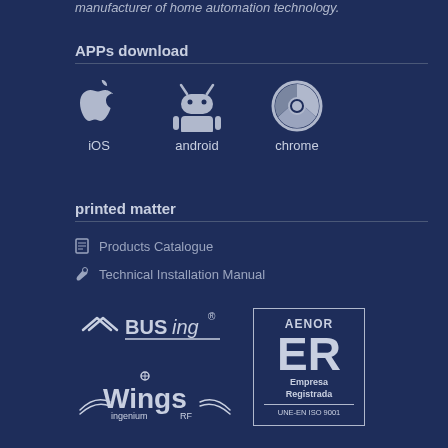manufacturer of home automation technology.
APPs download
[Figure (logo): iOS Apple logo with iOS label]
[Figure (logo): Android robot logo with android label]
[Figure (logo): Chrome browser logo with chrome label]
printed matter
Products Catalogue
Technical Installation Manual
[Figure (logo): BUSing logo]
[Figure (logo): wings ingenium RF logo]
[Figure (logo): AENOR Empresa Registrada UNE-EN ISO 9001 certification mark]